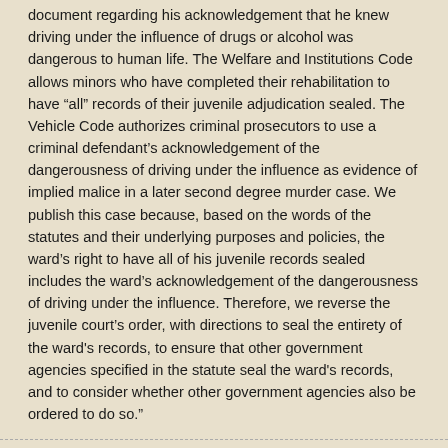document regarding his acknowledgement that he knew driving under the influence of drugs or alcohol was dangerous to human life. The Welfare and Institutions Code allows minors who have completed their rehabilitation to have “all” records of their juvenile adjudication sealed. The Vehicle Code authorizes criminal prosecutors to use a criminal defendant’s acknowledgement of the dangerousness of driving under the influence as evidence of implied malice in a later second degree murder case. We publish this case because, based on the words of the statutes and their underlying purposes and policies, the ward’s right to have all of his juvenile records sealed includes the ward’s acknowledgement of the dangerousness of driving under the influence. Therefore, we reverse the juvenile court’s order, with directions to seal the entirety of the ward's records, to ensure that other government agencies specified in the statute seal the ward's records, and to consider whether other government agencies also be ordered to do so.”
Or, somewhat more concisely:  "All" means all.